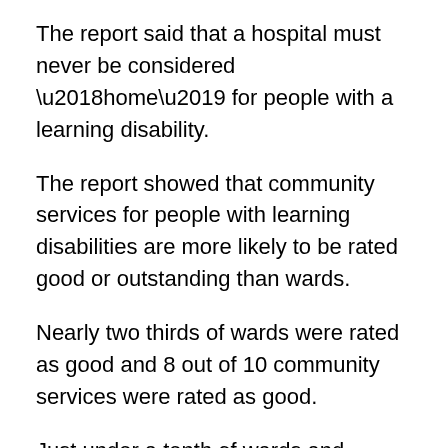The report said that a hospital must never be considered ‘home’ for people with a learning disability.
The report showed that community services for people with learning disabilities are more likely to be rated good or outstanding than wards.
Nearly two thirds of wards were rated as good and 8 out of 10 community services were rated as good.
Just under a tenth of wards and community services were rated outstanding.
27% of hospital wards for people with learning